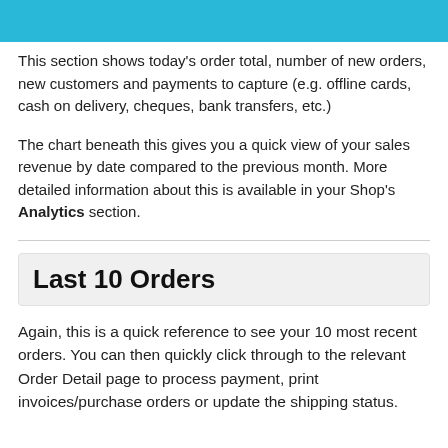[Figure (other): Cyan/teal header banner strip at top of page]
This section shows today's order total, number of new orders, new customers and payments to capture (e.g. offline cards, cash on delivery, cheques, bank transfers, etc.)
The chart beneath this gives you a quick view of your sales revenue by date compared to the previous month. More detailed information about this is available in your Shop's Analytics section.
Last 10 Orders
Again, this is a quick reference to see your 10 most recent orders. You can then quickly click through to the relevant Order Detail page to process payment, print invoices/purchase orders or update the shipping status.